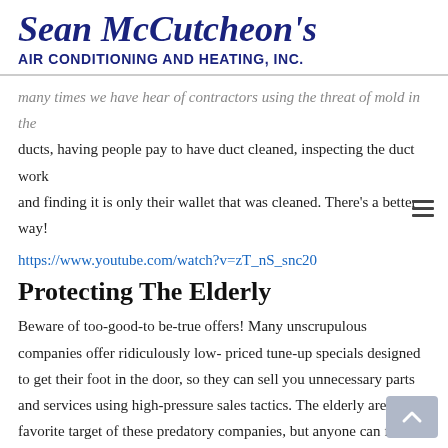Sean McCutcheon's Air Conditioning and Heating, Inc.
many times we have hear of contractors using the threat of mold in the ducts, having people pay to have duct cleaned, inspecting the duct work and finding it is only their wallet that was cleaned. There's a better way!
https://www.youtube.com/watch?v=zT_nS_snc20
Protecting The Elderly
Beware of too-good-to be-true offers! Many unscrupulous companies offer ridiculously low- priced tune-up specials designed to get their foot in the door, so they can sell you unnecessary parts and services using high-pressure sales tactics. The elderly are a favorite target of these predatory companies, but anyone can fall prey to these deceptive business practices. Don't be fooled!